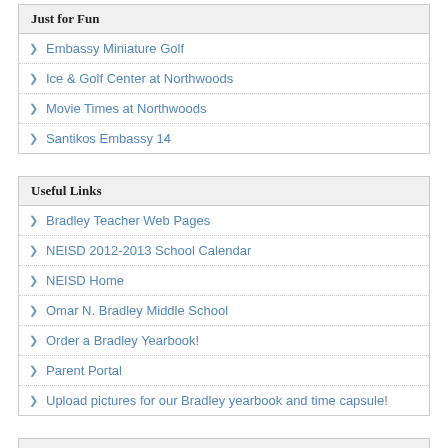Just for Fun
Embassy Miniature Golf
Ice & Golf Center at Northwoods
Movie Times at Northwoods
Santikos Embassy 14
Useful Links
Bradley Teacher Web Pages
NEISD 2012-2013 School Calendar
NEISD Home
Omar N. Bradley Middle School
Order a Bradley Yearbook!
Parent Portal
Upload pictures for our Bradley yearbook and time capsule!
Outside